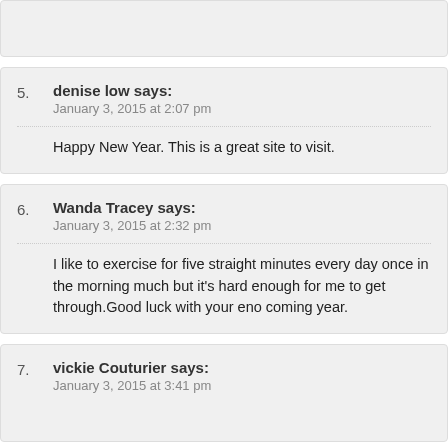5. denise low says: January 3, 2015 at 2:07 pm — Happy New Year. This is a great site to visit.
6. Wanda Tracey says: January 3, 2015 at 2:32 pm — I like to exercise for five straight minutes every day once in the morning much but it's hard enough for me to get through.Good luck with your eno coming year.
7. vickie Couturier says: January 3, 2015 at 3:41 pm